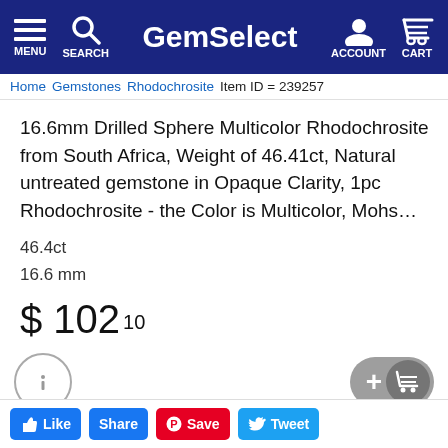GemSelect — MENU SEARCH ACCOUNT CART
Home > Gemstones > Rhodochrosite > Item ID = 239257
16.6mm Drilled Sphere Multicolor Rhodochrosite from South Africa, Weight of 46.41ct, Natural untreated gemstone in Opaque Clarity, 1pc Rhodochrosite - the Color is Multicolor, Mohs...
46.4ct
16.6 mm
$ 102 10
[Figure (infographic): Info icon circle, Add to cart button with plus and shopping cart icon]
Buy Now
Like  Share  Save  Tweet